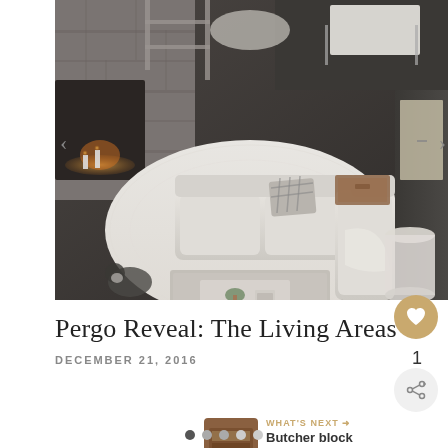[Figure (photo): Overhead view of a farmhouse-style living room with white sofas, fluffy white rug, gray coffee table, plaid pillows, and a stone fireplace in the background]
Pergo Reveal: The Living Areas
DECEMBER 21, 2016
1
WHAT'S NEXT → Butcher block progress...